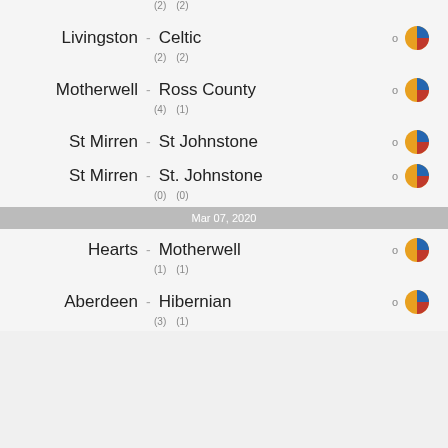(2)  (2)
Livingston - Celtic  0
(2)  (2)
Motherwell - Ross County  0
(4)  (1)
St Mirren - St Johnstone  0
St Mirren - St. Johnstone  0
(0)  (0)
Mar 07, 2020
Hearts - Motherwell  0
(1)  (1)
Aberdeen - Hibernian  0
(3)  (1)